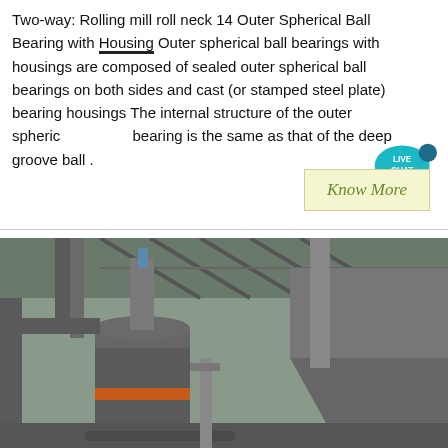Two-way: Rolling mill roll neck 14 Outer Spherical Ball Bearing with Housing Outer spherical ball bearings with housings are composed of sealed outer spherical ball bearings on both sides and cast (or stamped steel plate) bearing housings The internal structure of the outer spherical bearing is the same as that of the deep groove ball .
[Figure (other): Live chat button — teal speech bubble with white text LIVE CHAT]
Know More
[Figure (photo): Industrial machinery photo showing large cylindrical grinding mill equipment with pipes, ducts, and structural steel framing in a factory/plant setting. The mill has an orange stripe near its base.]